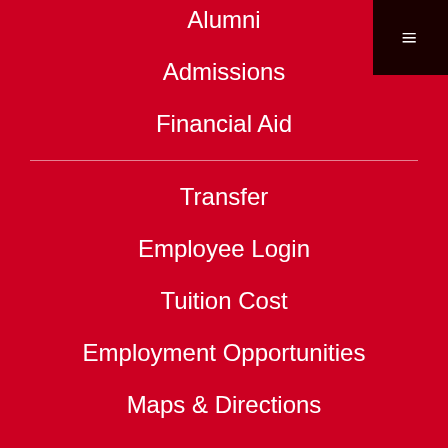Alumni
Admissions
Financial Aid
Transfer
Employee Login
Tuition Cost
Employment Opportunities
Maps & Directions
EEO
Privacy
Student Achievement
Student Right to Know
Completion Rate
Retention Rate